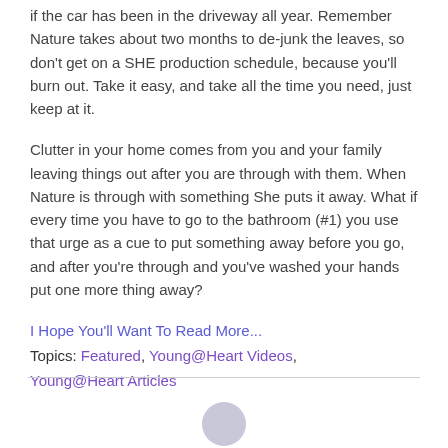if the car has been in the driveway all year. Remember Nature takes about two months to de-junk the leaves, so don't get on a SHE production schedule, because you'll burn out. Take it easy, and take all the time you need, just keep at it.
Clutter in your home comes from you and your family leaving things out after you are through with them. When Nature is through with something She puts it away. What if every time you have to go to the bathroom (#1) you use that urge as a cue to put something away before you go, and after you're through and you've washed your hands put one more thing away?
I Hope You'll Want To Read More... Topics: Featured, Young@Heart Videos, Young@Heart Articles